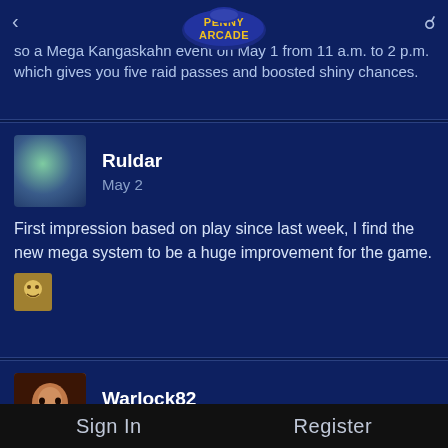Penny Arcade
so a Mega Kangaskahn event on May 1 from 11 a.m. to 2 p.m. which gives you five raid passes and boosted shiny chances.
Ruldar
May 2
First impression based on play since last week, I find the new mega system to be a huge improvement for the game.
Warlock82
May 2
Bah, I relented and bought the Go Fest ticket thing this weekend. $15 for like 3 days of events and cool pokemon didn't seem like that bad of a deal. I honestly couldn't give a shit about Shaymin but I really enjoy the community days and stuff so I just think the event itself will be fun.
Sign In    Register